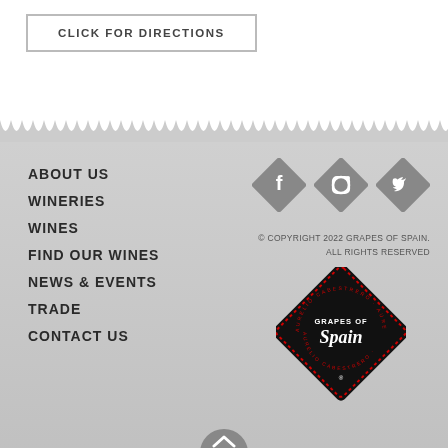CLICK FOR DIRECTIONS
ABOUT US
WINERIES
WINES
FIND OUR WINES
NEWS & EVENTS
TRADE
CONTACT US
[Figure (logo): Social media icons: Facebook, Instagram, Twitter in diamond/rotated-square shapes, grey color]
© COPYRIGHT 2022 GRAPES OF SPAIN. ALL RIGHTS RESERVED
[Figure (logo): Grapes of Spain diamond logo — black diamond shape with red dotted border, text GRAPES OF Spain with Aurelio Cabestrero name around the border]